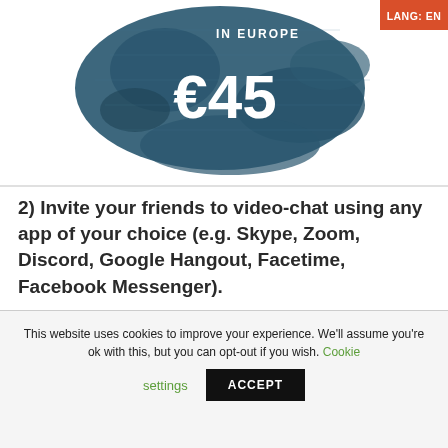[Figure (illustration): Website banner showing 'DETECTIVE IN EUROPE' text in white on a dark blue splatter background with price '€45' displayed prominently. A red badge in top-right corner reads 'LANG: EN'.]
2) Invite your friends to video-chat using any app of your choice (e.g. Skype, Zoom, Discord, Google Hangout, Facetime, Facebook Messenger).
This website uses cookies to improve your experience. We'll assume you're ok with this, but you can opt-out if you wish. Cookie settings ACCEPT